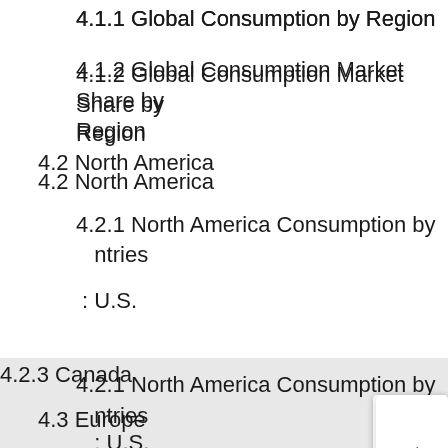4.1.1 Global Consumption by Region
4.1.2 Global Consumption Market Share by Region
4.2 North America
4.2.1 North America Consumption by Countries
4.2.2 U.S.
4.2.3 Canada
4.3 Europe
4.3.1 Europe Consumption by Countries
4.3.2 Germany